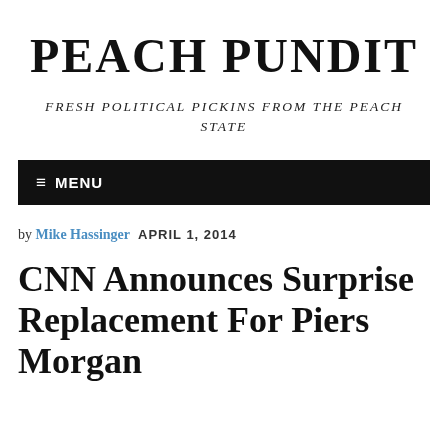PEACH PUNDIT
FRESH POLITICAL PICKINS FROM THE PEACH STATE
≡ MENU
by Mike Hassinger  APRIL 1, 2014
CNN Announces Surprise Replacement For Piers Morgan